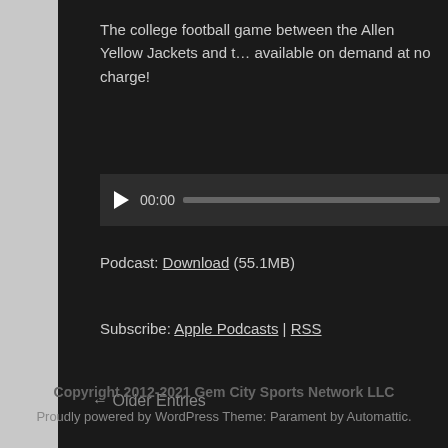The college football game between the Allen Yellow Jackets and t… available on demand at no charge!
[Figure (screenshot): Audio player bar with play button showing 00:00 and a progress bar]
Podcast: Download (55.1MB)
Subscribe: Apple Podcasts | RSS
← Older Entries
Copyright 2012-2021 Gem City Sports Network LLC
Proudly powered by WordPress Theme: Parament by Automattic.